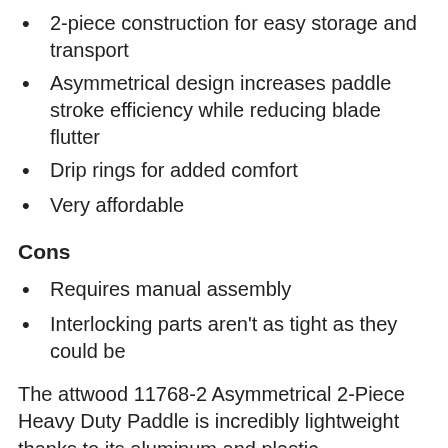2-piece construction for easy storage and transport
Asymmetrical design increases paddle stroke efficiency while reducing blade flutter
Drip rings for added comfort
Very affordable
Cons
Requires manual assembly
Interlocking parts aren't as tight as they could be
The attwood 11768-2 Asymmetrical 2-Piece Heavy Duty Paddle is incredibly lightweight thanks to its aluminum and plastic